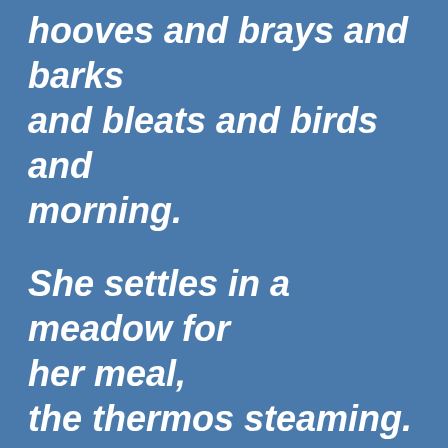hooves and brays and barks and bleats and birds and morning.
She settles in a meadow for her meal, the thermos steaming. Her swollen hands,red and knobbed and rough, grasp